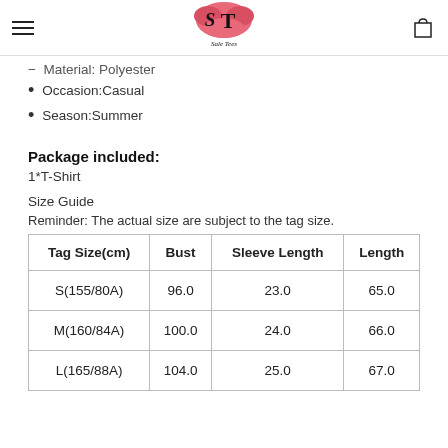Sale Tees logo and navigation
- Material: Polyester
• Occasion:Casual
• Season:Summer
Package included:
1*T-Shirt
Size Guide
Reminder: The actual size are subject to the tag size.
| Tag Size(cm) | Bust | Sleeve Length | Length |
| --- | --- | --- | --- |
| S(155/80A) | 96.0 | 23.0 | 65.0 |
| M(160/84A) | 100.0 | 24.0 | 66.0 |
| L(165/88A) | 104.0 | 25.0 | 67.0 |